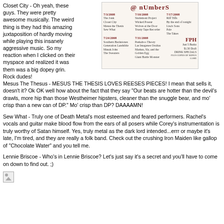Closet City - Oh yeah, these guys. They were pretty awesome musically. The weird thing is they had this amazing juxtaposition of hardly moving while playing this insanely aggressive music. So my reaction when I clicked on their myspace and realized it was them was a big dopey grin. Rock dudes!
[Figure (infographic): Event flyer for @ nUmberS with dates 7/3/2008, 7/10/2008, 7/17/2008, 7/24/2008, 7/31/2008 listing various bands including The Jonk, Closet City, Mesus the Thesis, Sew What, Studemont Project, Wicked Poseur, Wolves at the Door, Trusty Tape Recorder, Riff Tiffs, By the end of tonight, Lisa's Sons, Pale, The Takes, Southern Backstones, Generation Landslide, Musak John, The Sweaters, Peekaboo Theory, Las Imagenes Ocultas, Markus Sly and the Golden Egg, Giant Battle Monster. FPH logo, Just 5 Bucks, $1.50 Draft, Drink Specials.]
Mesus The Thesus - MESUS THE THESIS LOVES REESES PIECES! I mean that sells it, doesn't it? Ok OK well how about the fact that they say "Our beats are hotter than the devil's drawls, more hip than those Westheimer hipsters, cleaner than the snuggle bear, and mo' crisp than a new can of DP." Mo' crisp than DP? DAAAAMN!
Sew What - Truly one of Death Metal's most esteemed and feared performers. Rachel's vocals and guitar make blood flow from the ears of all posers while Corey's instrumentation is truly worthy of Satan himself. Yes, truly metal as the dark lord intended...errr or maybe it's late, I'm tired, and they are really a folk band. Check out the crushing Iron Maiden like gallop of "Chocolate Water" and you tell me.
Lennie Briscoe - Who's in Lennie Briscoe? Let's just say it's a secret and you'll have to come on down to find out. ;)
[Figure (photo): Broken image icon at bottom left]